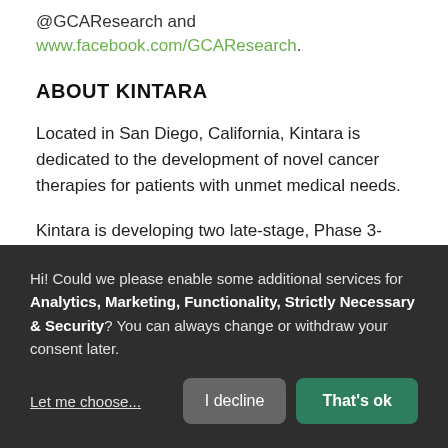@GCAResearch and www.facebook.com/GCAResearch.
ABOUT KINTARA
Located in San Diego, California, Kintara is dedicated to the development of novel cancer therapies for patients with unmet medical needs.
Kintara is developing two late-stage, Phase 3-ready therapeutics for clear unmet medical needs with
Hi! Could we please enable some additional services for Analytics, Marketing, Functionality, Strictly Necessary & Security? You can always change or withdraw your consent later.
Let me choose...
I decline
That's ok